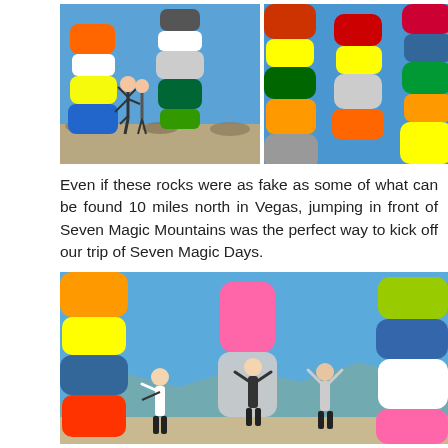[Figure (photo): Two photos side by side: left shows two people in yoga poses in front of tall colorful stacked rock sculptures (Seven Magic Mountains) against a blue sky; right shows a close-up of multiple colorful stacked rock sculptures.]
Even if these rocks were as fake as some of what can be found 10 miles north in Vegas, jumping in front of Seven Magic Mountains was the perfect way to kick off our trip of Seven Magic Days.
[Figure (photo): Wide photo showing three people posing with arms raised between tall colorful stacked rock sculptures at Seven Magic Mountains, against a blue sky with mountains in the background.]